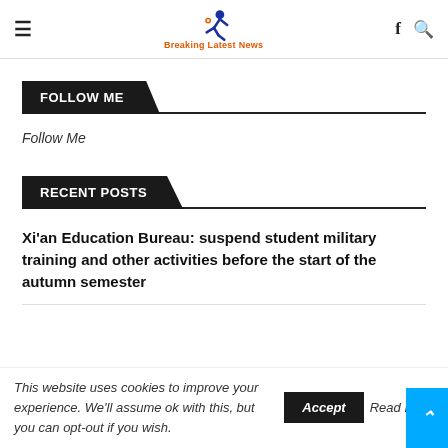Breaking Latest News — site header with hamburger menu, logo, facebook and search icons
FOLLOW ME
Follow Me
RECENT POSTS
Xi'an Education Bureau: suspend student military training and other activities before the start of the autumn semester
This website uses cookies to improve your experience. We'll assume ok with this, but you can opt-out if you wish. Accept Read More